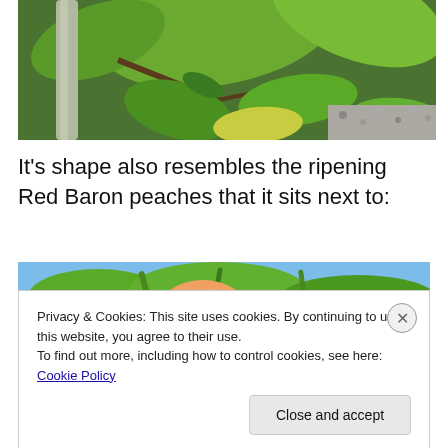[Figure (photo): Close-up photo of green tropical leaves and a pale tree trunk, viewed from below, with a ground of gravel visible.]
It's shape also resembles the ripening Red Baron peaches that it sits next to:
[Figure (photo): Photo of a ripe peach (orange-red skin) hanging on a peach tree branch with elongated green leaves, blue sky visible above.]
Privacy & Cookies: This site uses cookies. By continuing to use this website, you agree to their use.
To find out more, including how to control cookies, see here: Cookie Policy
Close and accept